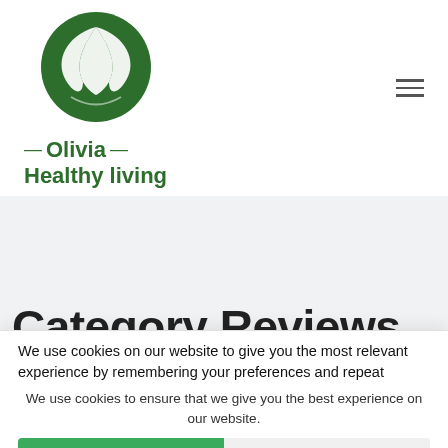[Figure (logo): Olivia Healthy Living logo: green circle with white leaf/plant design, text 'Olivia Healthy living' in dark green below]
Category Reviews
We use cookies on our website to give you the most relevant experience by remembering your preferences and repeat
We use cookies to ensure that we give you the best experience on our website.
Accept
Decline